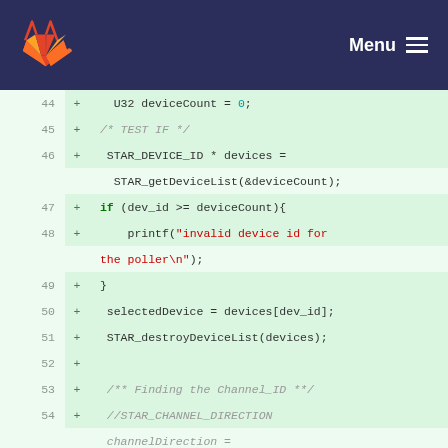GitLab Menu
[Figure (screenshot): Code diff view showing lines 44-57 of a C source file with added lines (marked with +) showing device count initialization, device list retrieval, device ID validation, device selection, device list destruction, channel finding comments, and spacewire configuration pointer declarations.]